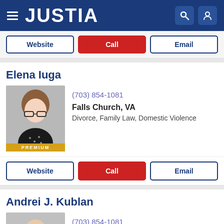JUSTIA
Website | Call | Email
Elena Iuga
(703) 854-1081
Falls Church, VA
Divorce, Family Law, Domestic Violence
Website | Call | Email
Andrei J. Kublan
(703) 854-1081
Falls Church, VA
Divorce, Family Law, Immigration Law